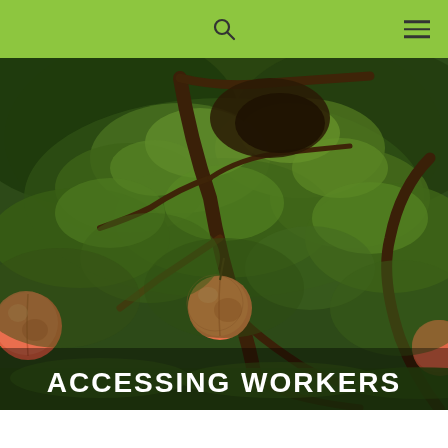Navigation bar with search and menu icons
[Figure (photo): Close-up photograph of peach tree branches with ripe peaches and green leaves in an orchard setting]
ACCESSING WORKERS